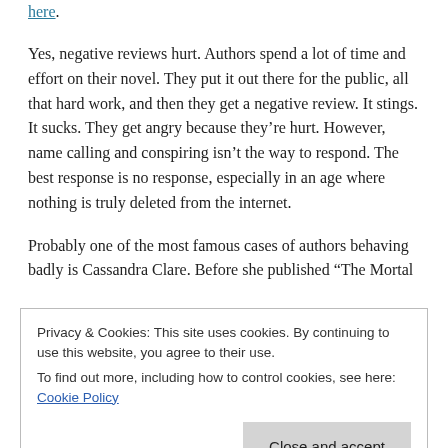here.
Yes, negative reviews hurt. Authors spend a lot of time and effort on their novel. They put it out there for the public, all that hard work, and then they get a negative review. It stings. It sucks. They get angry because they’re hurt. However, name calling and conspiring isn’t the way to respond. The best response is no response, especially in an age where nothing is truly deleted from the internet.
Probably one of the most famous cases of authors behaving badly is Cassandra Clare. Before she published “The Mortal
Privacy & Cookies: This site uses cookies. By continuing to use this website, you agree to their use.
To find out more, including how to control cookies, see here: Cookie Policy
Close and accept
plagiarism, and allegedly trying to get a girl expelled from her